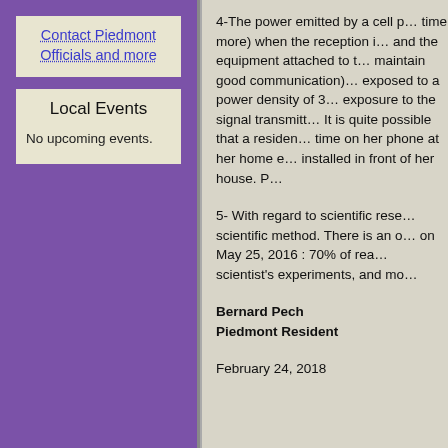Contact Piedmont Officials and more
Local Events
No upcoming events.
4-The power emitted by a cell p... time more) when the reception i... and the equipment attached to t... maintain good communication)... exposed to a power density of 3... exposure to the signal transmitt... It is quite possible that a residen... time on her phone at her home e... installed in front of her house. P...
5- With regard to scientific rese... scientific method. There is an o... on May 25, 2016 : 70% of rea... scientist's experiments, and mo...
Bernard Pech
Piedmont Resident
February 24, 2018